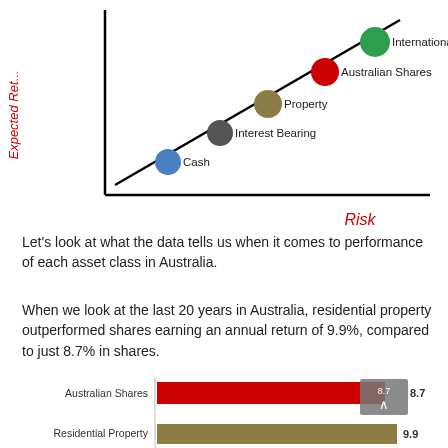[Figure (continuous-plot): Risk-return scatter plot showing five asset classes (Cash, Interest Bearing, Property, Australian Shares, International Shares) plotted along a diagonal line from lower-left to upper-right, with 'Expected Return' on the y-axis and 'Risk' on the x-axis (in red).]
Let's look at what the data tells us when it comes to performance of each asset class in Australia.
When we look at the last 20 years in Australia, residential property outperformed shares earning an annual return of 9.9%, compared to just 8.7% in shares.
[Figure (bar-chart): Annual Return Comparison]